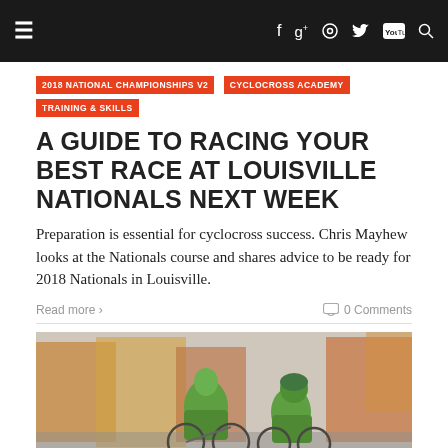Navigation bar with hamburger menu, social icons (Facebook, Google+, Instagram, Twitter, YouTube, Search)
2018 NATIONAL CHAMPIONSHIPS V2
CYCLOCROSS ACADEMY
TRAINING & SKILLS
A GUIDE TO RACING YOUR BEST RACE AT LOUISVILLE NATIONALS NEXT WEEK
Preparation is essential for cyclocross success. Chris Mayhew looks at the Nationals course and shares advice to be ready for 2018 Nationals in Louisville.
Read more ›
0 Comments
[Figure (photo): Two cyclists in bright green jerseys with bicycles, in an autumn outdoor setting with orange and brown trees in background]